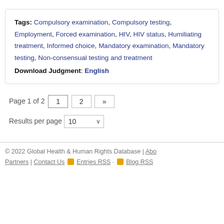Tags: Compulsory examination, Compulsory testing, Employment, Forced examination, HIV, HIV status, Humiliating treatment, Informed choice, Mandatory examination, Mandatory testing, Non-consensual testing and treatment
Download Judgment: English
Page 1 of 2  1  2  »
Results per page  10
© 2022 Global Health & Human Rights Database | About | Partners | Contact Us  Entries RSS · Blog RSS